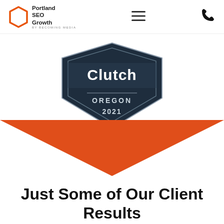Portland SEO Growth BY BECOMING MEDIA
[Figure (logo): Clutch award badge for Oregon 2021 with hexagonal shield shape, dark navy background, text: Clutch OREGON 2021]
[Figure (illustration): Large orange/red downward pointing chevron/triangle decorative divider]
Just Some of Our Client Results